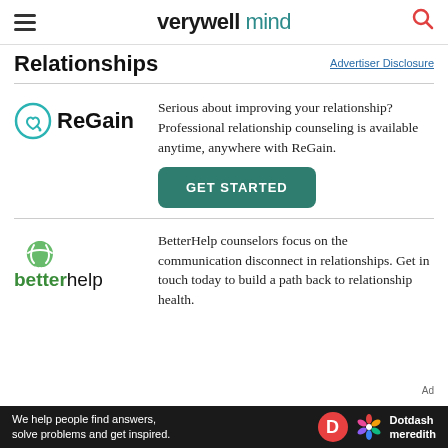verywell mind
Relationships
Advertiser Disclosure
[Figure (logo): ReGain logo with teal heart-arrow circle icon]
Serious about improving your relationship? Professional relationship counseling is available anytime, anywhere with ReGain.
GET STARTED
[Figure (logo): BetterHelp logo with green leaf icon]
BetterHelp counselors focus on the communication disconnect in relationships. Get in touch today to build a path back to relationship health.
We help people find answers, solve problems and get inspired. Dotdash meredith